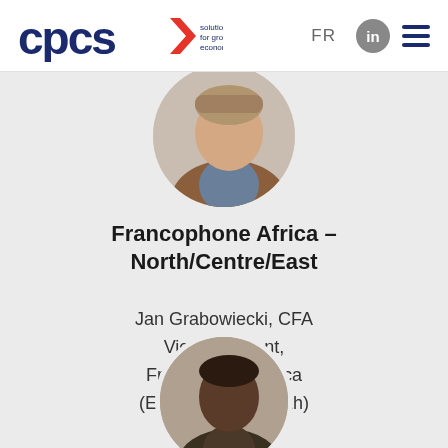[Figure (logo): CPCS logo with red arrow accent and tagline 'solutions for growing economies']
FR
[Figure (illustration): LinkedIn icon circle (gray) and hamburger menu icon (dark blue)]
[Figure (photo): Circular profile photo of Jan Grabowiecki, partially cropped at top of gray section]
Francophone Africa – North/Centre/East
Jan Grabowiecki, CFA
Vice President,
Francophone Africa
(East, Central, North)
[Figure (illustration): Email icon and LinkedIn icon in gray]
[Figure (photo): Circular profile photo of second person, partially visible at bottom of page]